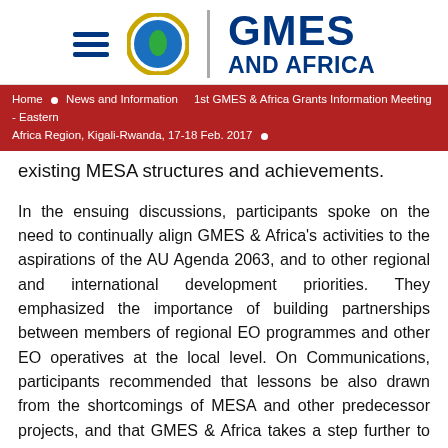[Figure (logo): GMES and Africa logo with globe and laurel wreath, accompanied by hamburger menu icon and 'GMES AND AFRICA' text in dark blue]
Home • News and Information    1st GMES & Africa Grants Information Meeting - Eastern Africa Region, Kigali-Rwanda, 17-18 Feb. 2017
existing MESA structures and achievements.
In the ensuing discussions, participants spoke on the need to continually align GMES & Africa's activities to the aspirations of the AU Agenda 2063, and to other regional and international development priorities. They emphasized the importance of building partnerships between members of regional EO programmes and other EO operatives at the local level. On Communications, participants recommended that lessons be also drawn from the shortcomings of MESA and other predecessor projects, and that GMES & Africa takes a step further to tackle knowledge management and capacity building.